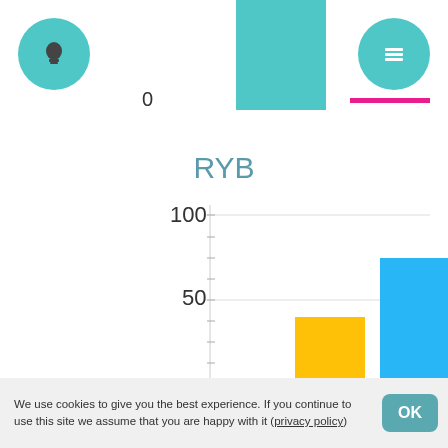[Figure (bar-chart): RYB]
We use cookies to give you the best experience. If you continue to use this site we assume that you are happy with it (privacy policy)